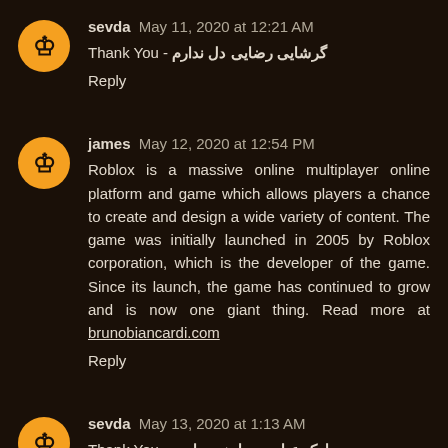sevda  May 11, 2020 at 12:21 AM
Thank You - گرشایی رضایی دل ندارم
Reply
james  May 12, 2020 at 12:54 PM
Roblox is a massive online multiplayer online platform and game which allows players a chance to create and design a wide variety of content. The game was initially launched in 2005 by Roblox corporation, which is the developer of the game. Since its launch, the game has continued to grow and is now one giant thing. Read more at brunobiancardi.com
Reply
sevda  May 13, 2020 at 1:13 AM
Thank You - سیامک عباسی ما همو داریم
Reply